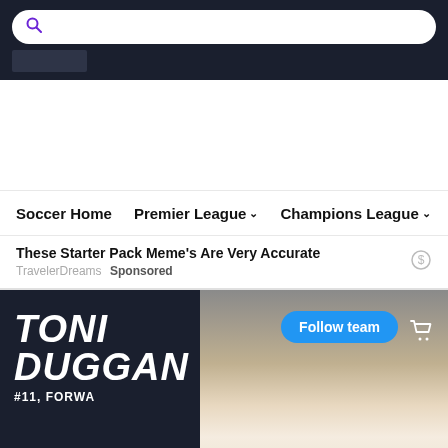[Figure (screenshot): Search bar with purple magnifying glass icon on dark navy background]
Soccer Home  Premier League ∨  Champions League ∨  Bu
These Starter Pack Meme's Are Very Accurate
TravelerDreams  Sponsored
TONI DUGGAN
#11, FORWA